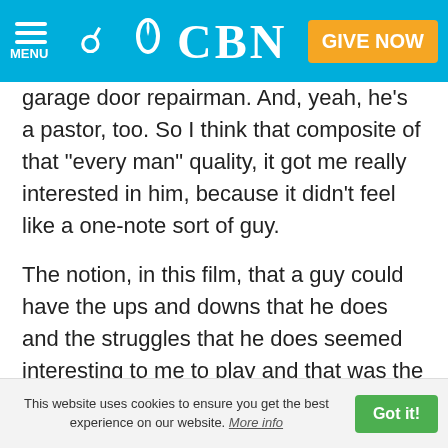CBN — MENU | Search | GIVE NOW
garage door repairman. And, yeah, he's a pastor, too. So I think that composite of that "every man" quality, it got me really interested in him, because it didn't feel like a one-note sort of guy.
The notion, in this film, that a guy could have the ups and downs that he does and the struggles that he does seemed interesting to me to play and that was the job.
What would you say to those who aren't sure they even want to see this movie because of the faith aspect of it?
Kinnear: Oh, there will be plenty of them. Sure enough,
This website uses cookies to ensure you get the best experience on our website. More info